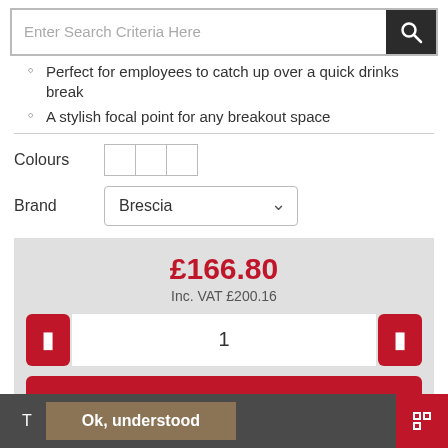[Figure (screenshot): Search bar with text input placeholder 'Enter Search Criteria Here' and dark search button with magnifying glass icon]
Perfect for employees to catch up over a quick drinks break
A stylish focal point for any breakout space
Colours [colour swatches]
Brand Brescia
£166.80
Inc. VAT £200.16
1
Add to Basket
T Ok, understood